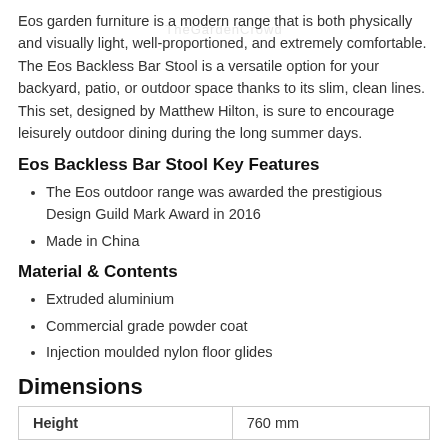Eos garden furniture is a modern range that is both physically and visually light, well-proportioned, and extremely comfortable. The Eos Backless Bar Stool is a versatile option for your backyard, patio, or outdoor space thanks to its slim, clean lines. This set, designed by Matthew Hilton, is sure to encourage leisurely outdoor dining during the long summer days.
Eos Backless Bar Stool Key Features
The Eos outdoor range was awarded the prestigious Design Guild Mark Award in 2016
Made in China
Material & Contents
Extruded aluminium
Commercial grade powder coat
Injection moulded nylon floor glides
Dimensions
| Height | 760 mm |
| --- | --- |